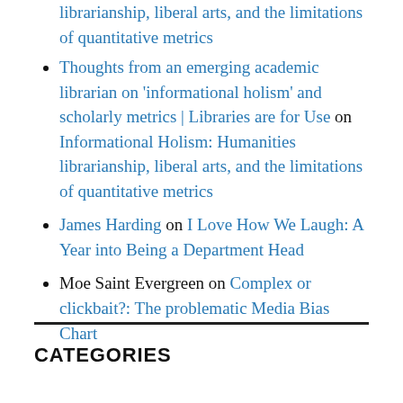librarianship, liberal arts, and the limitations of quantitative metrics (partial, top of page)
Thoughts from an emerging academic librarian on ‘informational holism’ and scholarly metrics | Libraries are for Use on Informational Holism: Humanities librarianship, liberal arts, and the limitations of quantitative metrics
James Harding on I Love How We Laugh: A Year into Being a Department Head
Moe Saint Evergreen on Complex or clickbait?: The problematic Media Bias Chart
CATEGORIES